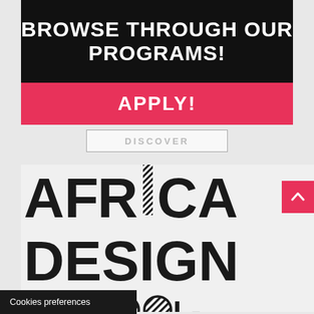BROWSE THROUGH OUR PROGRAMS!
APPLY!
DISCOVER
[Figure (logo): Africa Design School logo with large bold text: AFRICA DESIGN SCHOOL- with decorative striped letters]
Cookies preferences